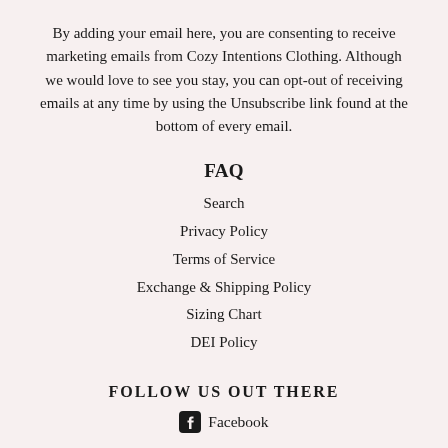By adding your email here, you are consenting to receive marketing emails from Cozy Intentions Clothing. Although we would love to see you stay, you can opt-out of receiving emails at any time by using the Unsubscribe link found at the bottom of every email.
FAQ
Search
Privacy Policy
Terms of Service
Exchange & Shipping Policy
Sizing Chart
DEI Policy
FOLLOW US OUT THERE
Facebook